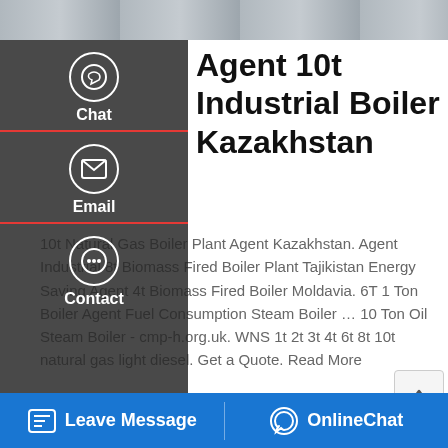[Figure (photo): Top banner photo of industrial boiler equipment, gray/steel tones]
Agent 10t Industrial Boiler Kazakhstan
10t Natural Gas Boiler Plant Agent Kazakhstan. Agent Industrial 8t Biomass Fired Boiler Plant Tajikistan Energy Saving Agent 4t Biomass Fired Boiler Moldavia. 6T 1 Ton Boiler Agent Fuel Consumption Steam Boiler … 10 Ton Oil Steam Boiler - cmp-h.org.uk. WNS 1t 2t 3t 4t 6t 8t 10t natural gas light diesel. Get a Quote. Read More
[Figure (screenshot): Left sidebar with Chat, Email, and Contact icons on dark background]
[Figure (screenshot): Get a Quote orange button]
[Figure (screenshot): WhatsApp sticker save banner with purple-pink gradient]
Leave Message   OnlineChat